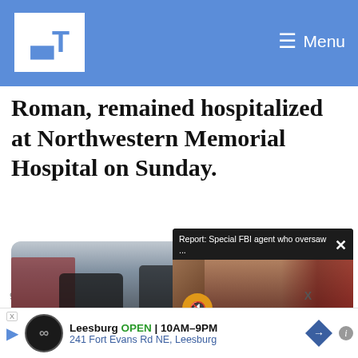LT — Menu
Roman, remained hospitalized at Northwestern Memorial Hospital on Sunday.
[Figure (photo): Police officers at a crime scene with yellow crime scene tape on a city street. Brick and glass buildings visible in background.]
[Figure (screenshot): Popup video overlay: 'Report: Special FBI agent who oversaw ...' with thumbnail showing bald man in front of flag, text 'KIDNAPPING SCHEME NOW OVERSEES TRUMP INVESTIGATIONS', mute button visible.]
chicagotribune.co...
Prosecutors drop ... by Chicago police...
[Figure (screenshot): Bottom advertisement banner: Leesburg OPEN 10AM-9PM, 241 Fort Evans Rd NE, Leesburg. Play button, circular logo, diamond navigation icon visible.]